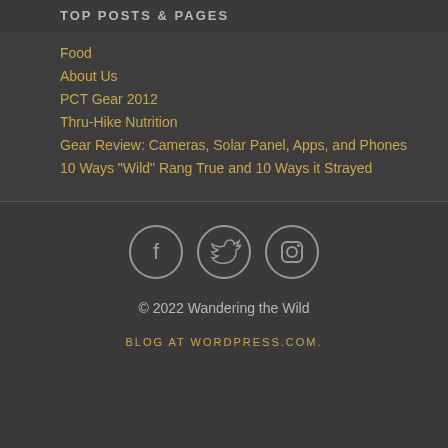TOP POSTS & PAGES
Food
About Us
PCT Gear 2012
Thru-Hike Nutrition
Gear Review: Cameras, Solar Panel, Apps, and Phones
10 Ways "Wild" Rang True and 10 Ways it Strayed
[Figure (infographic): Social media icons: Facebook, Twitter, Instagram in circles]
© 2022 Wandering the Wild
BLOG AT WORDPRESS.COM.